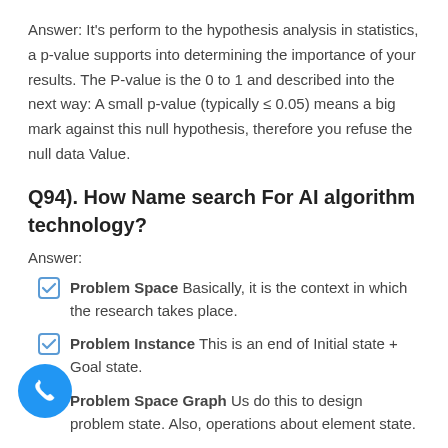Answer: It's perform to the hypothesis analysis in statistics, a p-value supports into determining the importance of your results. The P-value is the 0 to 1 and described into the next way: A small p-value (typically ≤ 0.05) means a big mark against this null hypothesis, therefore you refuse the null data Value.
Q94). How Name search For AI algorithm technology?
Answer:
Problem Space Basically, it is the context in which the research takes place.
Problem Instance This is an end of Initial state + Goal state.
Problem Space Graph Us do this to design problem state. Also, operations about element state.